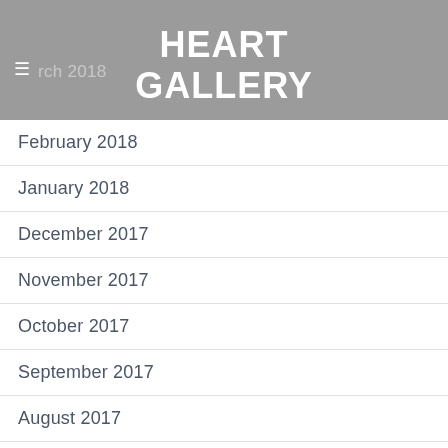HEART GALLERY
February 2018
January 2018
December 2017
November 2017
October 2017
September 2017
August 2017
July 2017
June 2017
May 2017